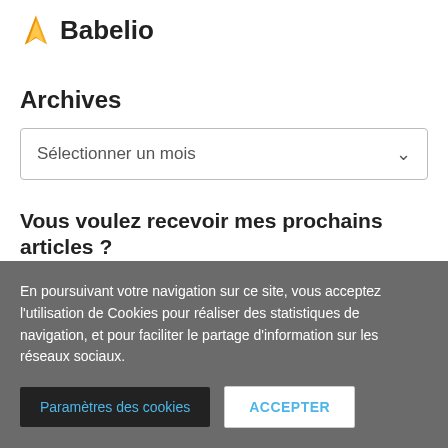[Figure (logo): Babelio logo with golden flame icon and bold text 'Babelio']
Archives
[Figure (screenshot): Dropdown selector with placeholder 'Sélectionner un mois' and chevron arrow]
Vous voulez recevoir mes prochains articles ?
E-mail *
[Figure (screenshot): Email input field with placeholder text 'Email']
En poursuivant votre navigation sur ce site, vous acceptez l'utilisation de Cookies pour réaliser des statistiques de navigation, et pour faciliter le partage d'information sur les réseaux sociaux.
Paramètres des cookies | ACCEPTER